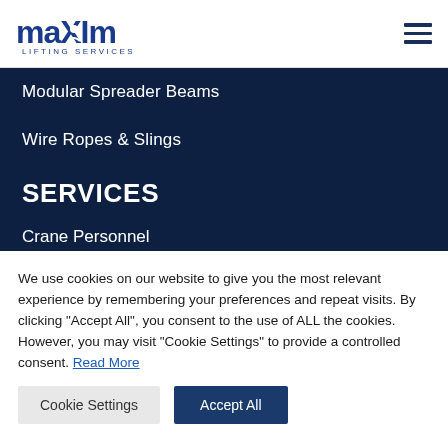Maxim Lifting Services
Modular Spreader Beams
Wire Ropes & Slings
SERVICES
Crane Personnel
We use cookies on our website to give you the most relevant experience by remembering your preferences and repeat visits. By clicking "Accept All", you consent to the use of ALL the cookies. However, you may visit "Cookie Settings" to provide a controlled consent. Read More